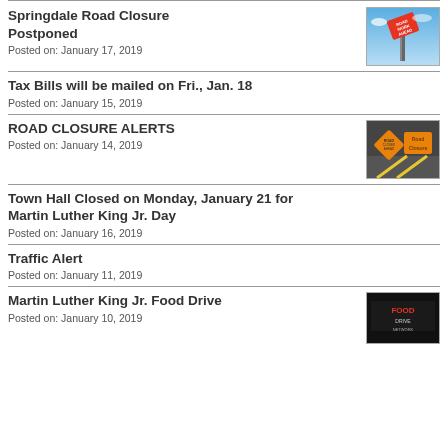Springdale Road Closure Postponed
Posted on: January 17, 2019
[Figure (photo): Road Work Ahead sign against blue sky]
Tax Bills will be mailed on Fri., Jan. 18
Posted on: January 15, 2019
ROAD CLOSURE ALERTS
Posted on: January 14, 2019
[Figure (photo): Road Closure signs on road with yellow lines]
Town Hall Closed on Monday, January 21 for Martin Luther King Jr. Day
Posted on: January 16, 2019
Traffic Alert
Posted on: January 11, 2019
Martin Luther King Jr. Food Drive
Posted on: January 10, 2019
[Figure (photo): Food Drive banner image]